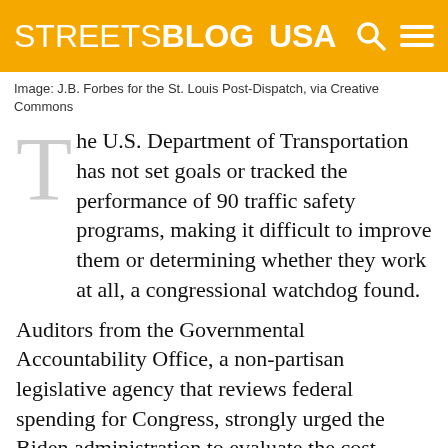STREETSBLOG USA
Image: J.B. Forbes for the St. Louis Post-Dispatch, via Creative Commons
The U.S. Department of Transportation has not set goals or tracked the performance of 90 traffic safety programs, making it difficult to improve them or determining whether they work at all, a congressional watchdog found.
Auditors from the Governmental Accountability Office, a non-partisan legislative agency that reviews federal spending for Congress, strongly urged the Biden administration to evaluate the cost effectiveness of existing pedestrian and cycling safety programs and share those results with states in order to lower the number of fatalities on the road.